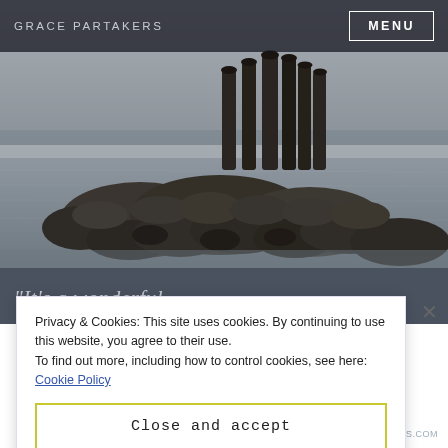GRACE PARTAKERS    MENU
[Figure (photo): Black and white photograph of a rocky shoreline with old wooden pier pilings rising from shallow water, with a flat grey sky and calm sea in the background.]
Privacy & Cookies: This site uses cookies. By continuing to use this website, you agree to their use.
To find out more, including how to control cookies, see here: Cookie Policy
Close and accept